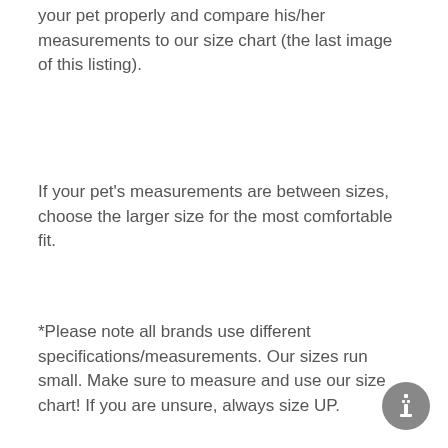your pet properly and compare his/her measurements to our size chart (the last image of this listing).
If your pet's measurements are between sizes, choose the larger size for the most comfortable fit.
*Please note all brands use different specifications/measurements. Our sizes run small. Make sure to measure and use our size chart! If you are unsure, always size UP.